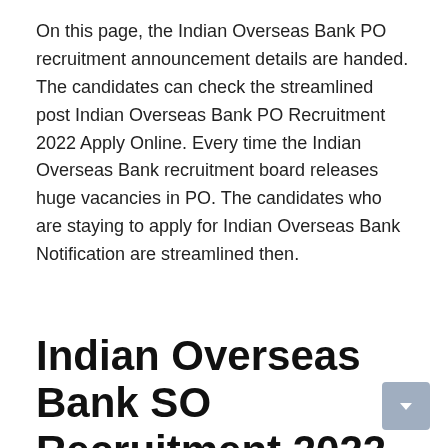On this page, the Indian Overseas Bank PO recruitment announcement details are handed. The candidates can check the streamlined post Indian Overseas Bank PO Recruitment 2022 Apply Online. Every time the Indian Overseas Bank recruitment board releases huge vacancies in PO. The candidates who are staying to apply for Indian Overseas Bank Notification are streamlined then.
Indian Overseas Bank SO Recruitment 2022
On this page, the Indian Overseas Bank SO recruitment announcement details are handed.